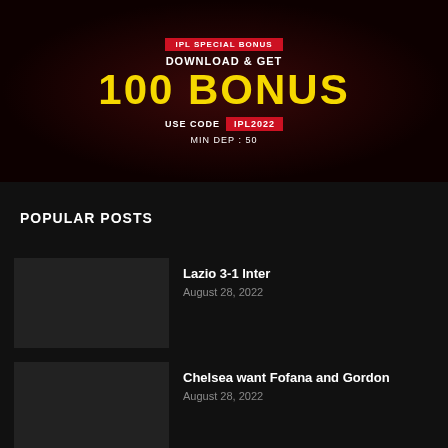[Figure (infographic): IPL Special Bonus advertisement banner with dark red background. Text reads: IPL SPECIAL BONUS / DOWNLOAD & GET / 100 BONUS / USE CODE IPL2022 / MIN DEP : 50]
POPULAR POSTS
Lazio 3-1 Inter
August 28, 2022
Chelsea want Fofana and Gordon
August 28, 2022